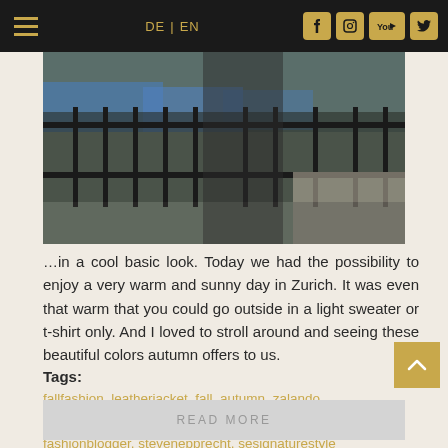DE | EN
[Figure (photo): Fashion photo of a man in a dark leather jacket and dark trousers leaning against ornate wrought iron railings outdoors, with blue market stalls visible in the background.]
…in a cool basic look. Today we had the possibility to enjoy a very warm and sunny day in Zurich. It was even that warm that you could go outside in a light sweater or t-shirt only. And I loved to stroll around and seeing these beautiful colors autumn offers to us.
Tags: fallfashion, leatherjacket, fall, autumn, zalando, mensfashion, styleguide, fashionstyle, fashion, fashionblogger, stevenepprecht, sesignaturestyle
READ MORE